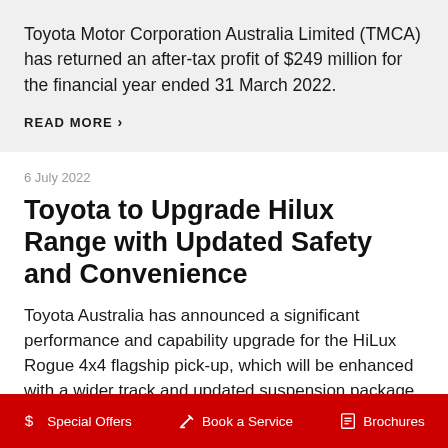Toyota Motor Corporation Australia Limited (TMCA) has returned an after-tax profit of $249 million for the financial year ended 31 March 2022.
READ MORE >
6 July 2022
Toyota to Upgrade Hilux Range with Updated Safety and Convenience
Toyota Australia has announced a significant performance and capability upgrade for the HiLux Rogue 4x4 flagship pick-up, which will be enhanced with a wider track and updated suspension package in the fourth quarter of 2022.
$ Special Offers   Book a Service   Brochures